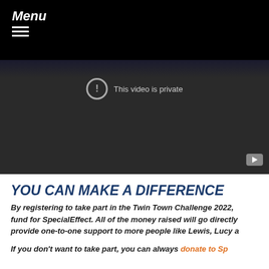Menu
[Figure (screenshot): A dark video player showing 'This video is private' message with a YouTube play button icon in the bottom right corner.]
YOU CAN MAKE A DIFFERENCE
By registering to take part in the Twin Town Challenge 2022, fund for SpecialEffect. All of the money raised will go directly provide one-to-one support to more people like Lewis, Lucy a
If you don't want to take part, you can always donate to Sp